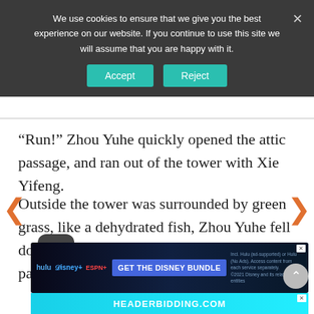We use cookies to ensure that we give you the best experience on our website. If you continue to use this site we will assume that you are happy with it.
“Run!” Zhou Yuhe quickly opened the attic passage, and ran out of the tower with Xie Yifeng.
Outside the tower was surrounded by green grass, like a dehydrated fish, Zhou Yuhe fell down on the slightly wet grass, and heavily panted.
[Figure (screenshot): Disney Bundle advertisement banner with Hulu, Disney+, and ESPN+ logos and 'GET THE DISNEY BUNDLE' call to action]
[Figure (screenshot): Partial banner showing HEADERBIDDING.COM text]